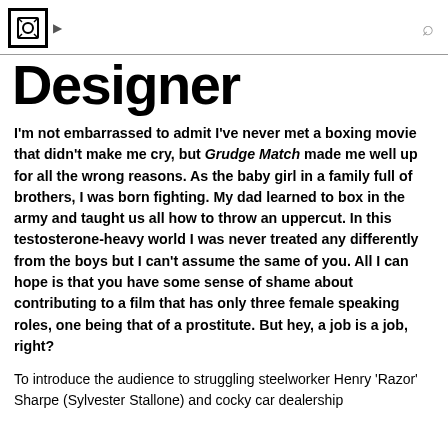[Logo] [arrow] [search icon]
Designer
I'm not embarrassed to admit I've never met a boxing movie that didn't make me cry, but Grudge Match made me well up for all the wrong reasons. As the baby girl in a family full of brothers, I was born fighting. My dad learned to box in the army and taught us all how to throw an uppercut. In this testosterone-heavy world I was never treated any differently from the boys but I can't assume the same of you. All I can hope is that you have some sense of shame about contributing to a film that has only three female speaking roles, one being that of a prostitute. But hey, a job is a job, right?
To introduce the audience to struggling steelworker Henry 'Razor' Sharpe (Sylvester Stallone) and cocky car dealership